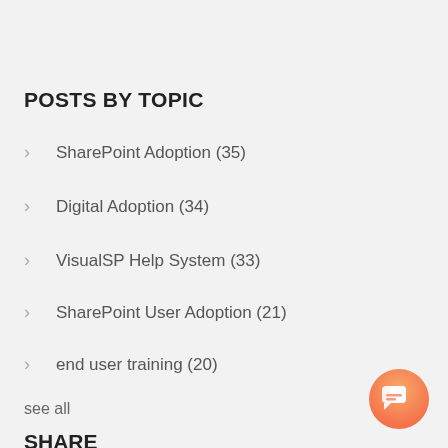POSTS BY TOPIC
SharePoint Adoption (35)
Digital Adoption (34)
VisualSP Help System (33)
SharePoint User Adoption (21)
end user training (20)
see all
SHARE